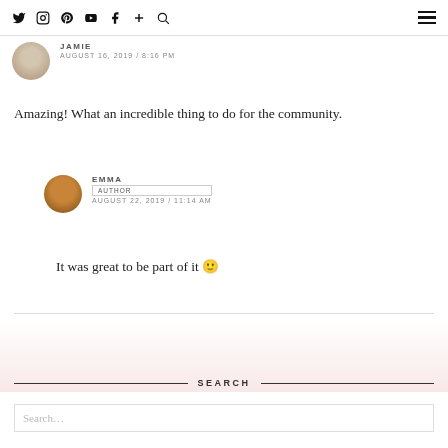Social media nav icons and hamburger menu
JAMIE
AUGUST 16, 2019 / 8:16 PM
Amazing! What an incredible thing to do for the community.
EMMA
AUTHOR
AUGUST 22, 2019 / 11:14 AM
It was great to be part of it 🙂
SEARCH
Search...